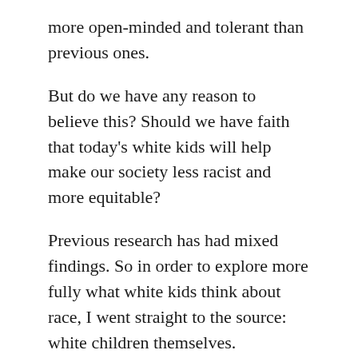more open-minded and tolerant than previous ones.
But do we have any reason to believe this? Should we have faith that today's white kids will help make our society less racist and more equitable?
Previous research has had mixed findings. So in order to explore more fully what white kids think about race, I went straight to the source: white children themselves.
In my new book, “White Kids: Growing Up with Privilege in a Racially Divided America,” I explore how 36 white, affluent kids think and